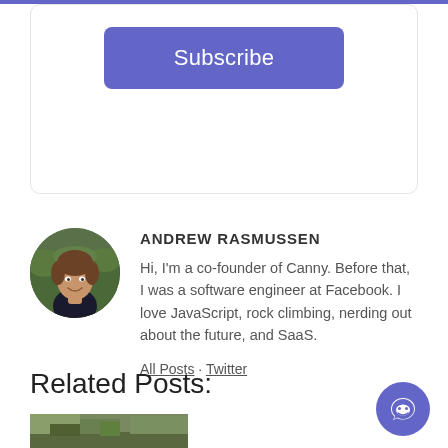[Figure (other): Purple subscribe button inside a rounded card]
[Figure (photo): Circular avatar photo of Andrew Rasmussen, a young man smiling outdoors]
ANDREW RASMUSSEN
Hi, I'm a co-founder of Canny. Before that, I was a software engineer at Facebook. I love JavaScript, rock climbing, nerding out about the future, and SaaS.
All Posts · Twitter
Related Posts:
[Figure (photo): Thumbnail image for a related post, showing an outdoor/forest scene]
[Figure (other): Purple circular chat/messenger button in the bottom right corner]